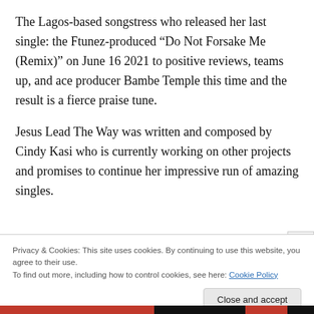The Lagos-based songstress who released her last single: the Ftunez-produced “Do Not Forsake Me (Remix)” on June 16 2021 to positive reviews, teams up, and ace producer Bambe Temple this time and the result is a fierce praise tune.
Jesus Lead The Way was written and composed by Cindy Kasi who is currently working on other projects and promises to continue her impressive run of amazing singles.
Privacy & Cookies: This site uses cookies. By continuing to use this website, you agree to their use.
To find out more, including how to control cookies, see here: Cookie Policy